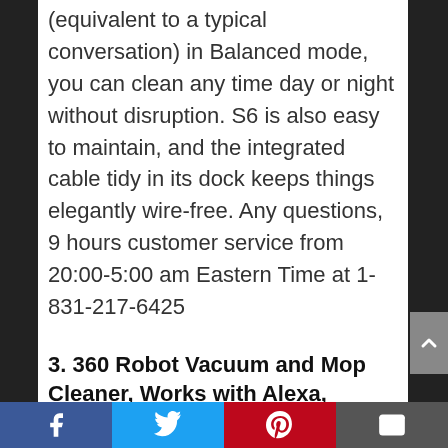(equivalent to a typical conversation) in Balanced mode, you can clean any time day or night without disruption. S6 is also easy to maintain, and the integrated cable tidy in its dock keeps things elegantly wire-free. Any questions, 9 hours customer service from 20:00-5:00 am Eastern Time at 1-831-217-6425
3. 360 Robot Vacuum and Mop Cleaner, Works with Alexa,